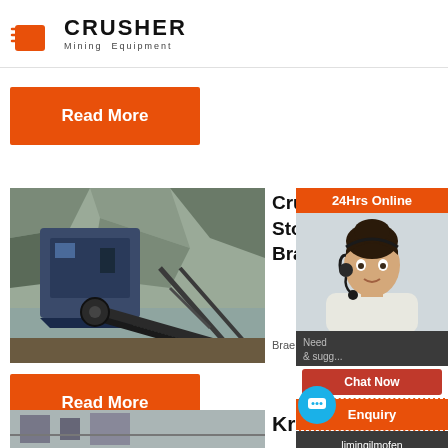[Figure (logo): Crusher Mining Equipment logo with shopping bag icon and bold CRUSHER text]
Read More
[Figure (photo): Mining stone crusher equipment at quarry site with conveyor belt and machinery]
Crusher Stone Braen
Braen Sup...
Read More
[Figure (photo): 24Hrs Online customer service representative with headset]
24Hrs Online
Need... & sugg...
Chat Now
Enquiry
limingjlmofen@sina.com
Krishna